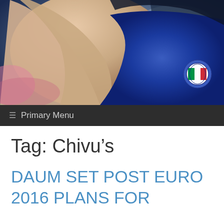[Figure (photo): Close-up photo of a soccer/football player's arm and jersey with Italian flag badge visible on blue shirt, blurred background stadium]
≡ Primary Menu
Tag: Chivu's
DAUM SET POST EURO 2016 PLANS FOR